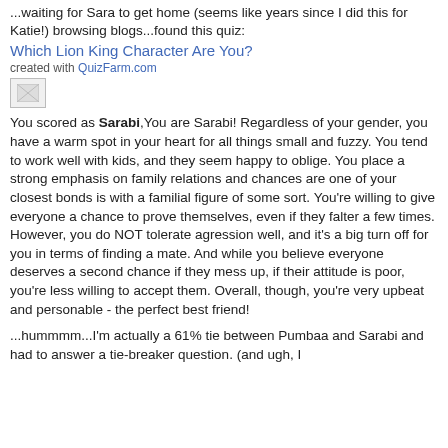...waiting for Sara to get home (seems like years since I did this for Katie!) browsing blogs...found this quiz:
Which Lion King Character Are You?
created with QuizFarm.com
[Figure (other): Small image placeholder thumbnail]
You scored as Sarabi,You are Sarabi! Regardless of your gender, you have a warm spot in your heart for all things small and fuzzy. You tend to work well with kids, and they seem happy to oblige. You place a strong emphasis on family relations and chances are one of your closest bonds is with a familial figure of some sort. You're willing to give everyone a chance to prove themselves, even if they falter a few times. However, you do NOT tolerate agression well, and it's a big turn off for you in terms of finding a mate. And while you believe everyone deserves a second chance if they mess up, if their attitude is poor, you're less willing to accept them. Overall, though, you're very upbeat and personable - the perfect best friend!
...hummmm...I'm actually a 61% tie between Pumbaa and Sarabi and had to answer a tie-breaker question. (and ugh, I